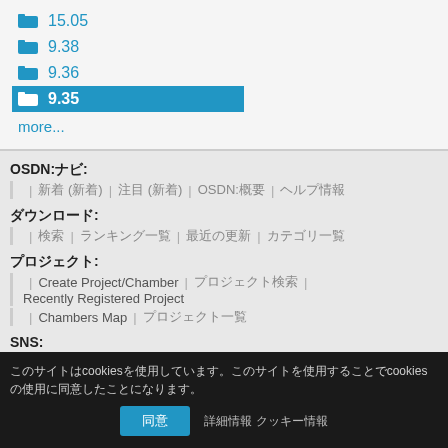📁 15.05
📁 9.38
📁 9.36
📁 9.35 (selected)
more...
OSDN:ナビ:
| 新着 (新着) | 注目 (新着) | OSDN:概要 | ヘルプ情報
ダウンロード:
| 検索 | ランキング一覧 | 最近の更新 | カテゴリ一覧
プロジェクト:
| Create Project/Chamber | プロジェクト検索 | Recently Registered Project
| Chambers Map | プロジェクト一覧
SNS:
| OSDN Twitter | OSDN Google+
法的:
| プライバシー | 利用 | 著作権情報 | 広告 | Report Abuse/spam
このサイトはcookiesを使用しています。このサイトを使用することでcookiesの使用に同意したことになります。
同意 | 詳細情報 クッキー情報